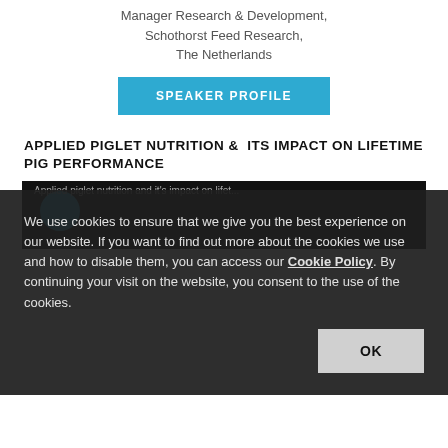Manager Research & Development,
Schothorst Feed Research,
The Netherlands
SPEAKER PROFILE
APPLIED PIGLET NUTRITION & ITS IMPACT ON LIFETIME PIG PERFORMANCE
[Figure (screenshot): Dark video player thumbnail showing a blue circle icon and text 'Applied piglet nutrition and it's impact on lifet...']
We use cookies to ensure that we give you the best experience on our website. If you want to find out more about the cookies we use and how to disable them, you can access our Cookie Policy. By continuing your visit on the website, you consent to the use of the cookies.
OK